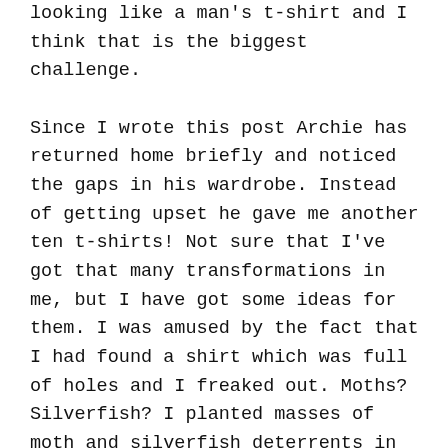Kate has mentioned that it's hard to stop them looking like a man's t-shirt and I think that is the biggest challenge.

Since I wrote this post Archie has returned home briefly and noticed the gaps in his wardrobe. Instead of getting upset he gave me another ten t-shirts! Not sure that I've got that many transformations in me, but I have got some ideas for them. I was amused by the fact that I had found a shirt which was full of holes and I freaked out. Moths? Silverfish? I planted masses of moth and silverfish deterrents in his wardrobe and showed him the shirt when he got home. The conversation went like this:
"Muuum! This shirt is supposed to be full of